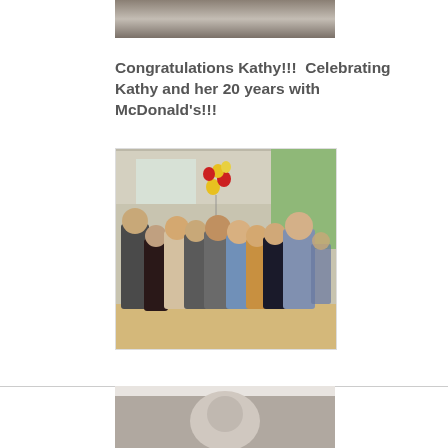[Figure (photo): Partial top photo showing interior, cropped at top of page]
Congratulations Kathy!!!  Celebrating Kathy and her 20 years with McDonald's!!!
[Figure (photo): Group photo of approximately 10 people standing together in a McDonald's restaurant dining area, with red and yellow balloons in the background. Celebrating Kathy's 20 years with McDonald's.]
[Figure (photo): Partial bottom photo, cropped at bottom of page, appears to be a black and white image]